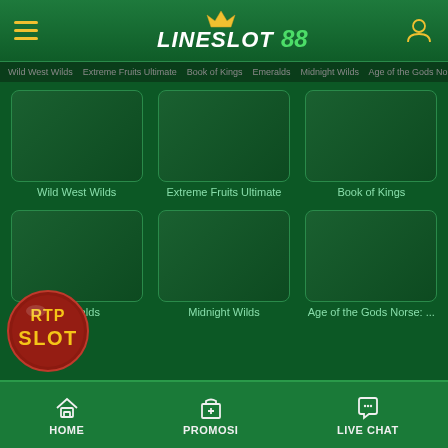LINESLOT88 - navigation header with hamburger menu and user icon
[Figure (screenshot): Wild West Wilds game thumbnail - dark green placeholder]
[Figure (screenshot): Extreme Fruits Ultimate game thumbnail - dark green placeholder]
[Figure (screenshot): Book of Kings game thumbnail - dark green placeholder]
Wild West Wilds
Extreme Fruits Ultimate
Book of Kings
[Figure (screenshot): Emeralds slot game thumbnail - dark green placeholder]
[Figure (screenshot): Midnight Wilds game thumbnail - dark green placeholder]
[Figure (screenshot): Age of the Gods Norse game thumbnail - dark green placeholder]
Emeralds
Midnight Wilds
Age of the Gods Norse: ...
[Figure (logo): RTP SLOT badge - circular logo with red/maroon background, yellow text reading RTP SLOT]
HOME   PROMOSI   LIVE CHAT